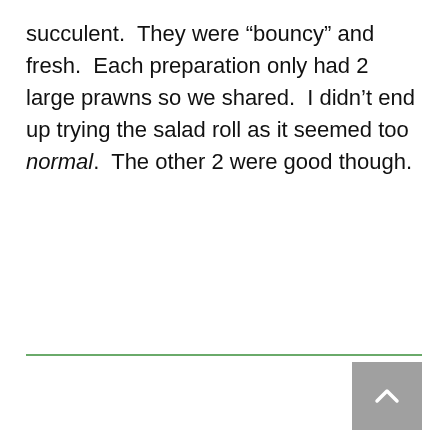succulent.  They were "bouncy" and fresh.  Each preparation only had 2 large prawns so we shared.  I didn't end up trying the salad roll as it seemed too normal.  The other 2 were good though.